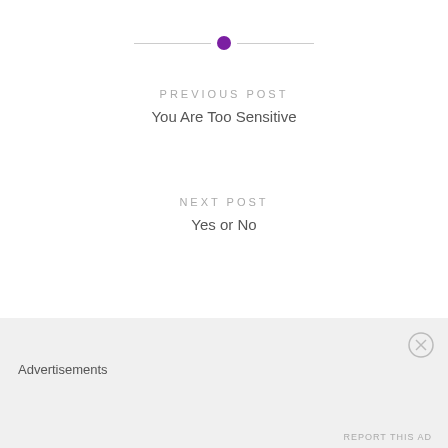[Figure (other): Horizontal divider line with a purple circle dot in the center]
PREVIOUS POST
You Are Too Sensitive
NEXT POST
Yes or No
Advertisements
REPORT THIS AD